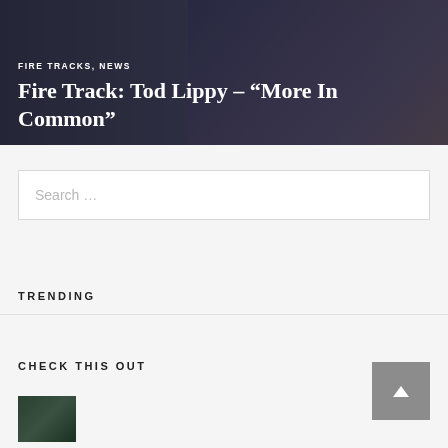[Figure (photo): Hero image showing a person with arms crossed wearing a dark navy shirt, with a blurred indoor background. Overlaid with dark gradient.]
FIRE TRACKS, NEWS
Fire Track: Tod Lippy – “More In Common”
Search …
TRENDING
CHECK THIS OUT
[Figure (photo): Small thumbnail image, dark green foliage background]